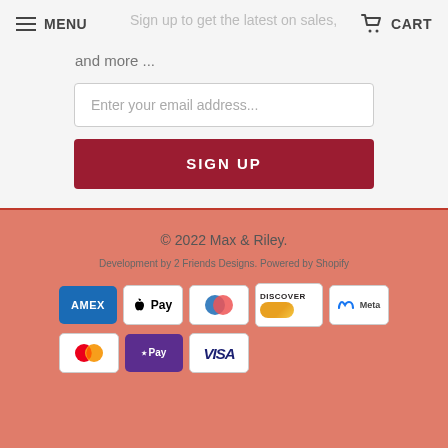MENU   CART
Sign up to get the latest on sales, new releases and more ...
Enter your email address...
SIGN UP
© 2022 Max & Riley.
Development by 2 Friends Designs. Powered by Shopify
[Figure (other): Payment method icons: AMEX, Apple Pay, Diners Club, Discover, Meta Pay, Mastercard, Google Pay, Visa]